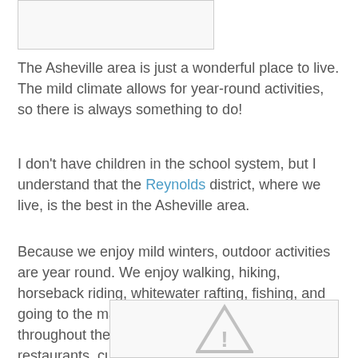[Figure (photo): Partially visible image placeholder at the top of the page, showing a light grey/white rectangle with a border.]
The Asheville area is just a wonderful place to live.  The mild climate allows for year-round activities, so there is always something to do!
I don't have children in the school system, but I understand that the Reynolds district, where we live, is the best in the Asheville area.
Because we enjoy mild winters, outdoor activities are year round.  We enjoy walking, hiking, horseback riding, whitewater rafting, fishing, and going to the many outdoor venues that take place throughout the year.  We also enjoy the great restaurants, culture, and friendly people that call Asheville their home.
[Figure (other): Image placeholder with a warning/broken image triangle icon in light grey, centered in a bordered rectangle.]